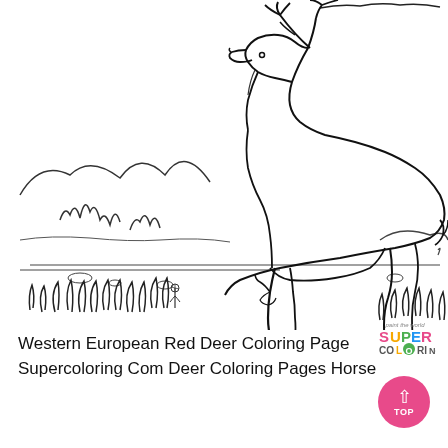[Figure (illustration): Black and white coloring page illustration of a Western European Red Deer standing in a landscape with mountains, trees, grass and small flowers in the background. The deer is depicted in profile with antlers raised, head lowered as if grazing, with detailed line art style typical of coloring book pages.]
Western European Red Deer Coloring Page Supercoloring Com Deer Coloring Pages Horse